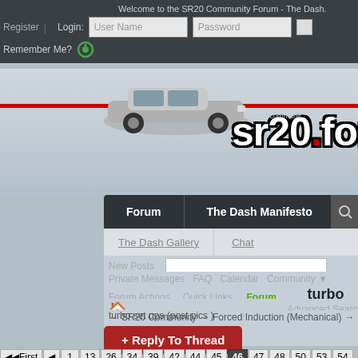Welcome to the SR20 Community Forum - The Dash.
Register | Login: User Name  Password  Remember Me?
[Figure (screenshot): SR20 Forum banner with car image and sr20.forum logo with red dot]
Forum | The Dash Manifesto
The Dash Gallery | Chat
New Posts
Private Messages  FAQ  Calendar  Community  Thread: turbo set
Forum Actions  Quick Links  Forum Rules  Advanced Search
→ SR20 Community → Forced Induction (Mechanical) → turbo set ups (post pics)
ups (post pics)
+ Reply To Thread
First ◄ 1  13  26  34  39  42  44  45  46  47  48  50  53  54